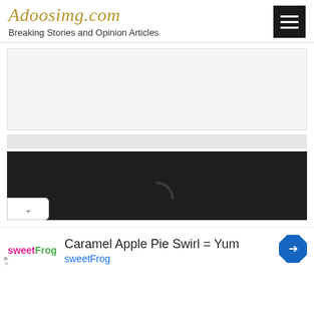Adoosimg.com — Breaking Stories and Opinion Articles
[Figure (other): Gray empty advertisement slot placeholder]
[Figure (other): Dark black image area with loading spinner arc and dropdown chevron tab]
[Figure (other): sweetFrog advertisement banner: Caramel Apple Pie Swirl = Yum, sweetFrog logo and blue navigation arrow icon]